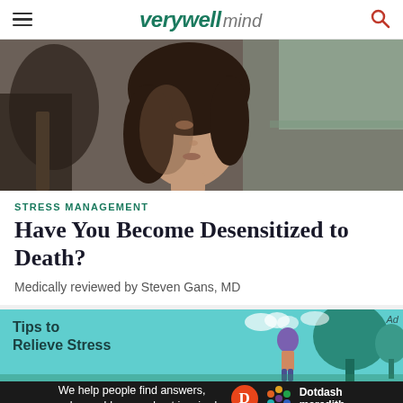verywell mind
[Figure (photo): Young woman with dark hair looking pensively out a window, dim moody lighting]
STRESS MANAGEMENT
Have You Become Desensitized to Death?
Medically reviewed by Steven Gans, MD
[Figure (illustration): Tips to Relieve Stress - illustrated banner with teal background, cartoon person and tree]
We help people find answers, solve problems and get inspired.
[Figure (logo): Dotdash Meredith logo]